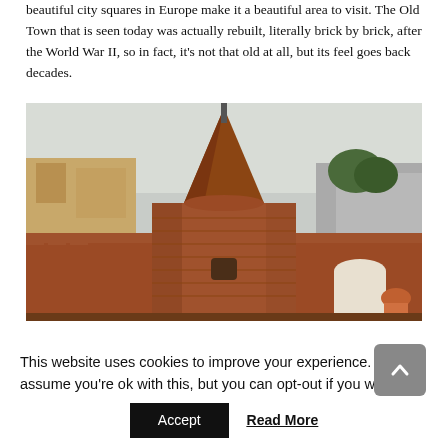beautiful city squares in Europe make it a beautiful area to visit. The Old Town that is seen today was actually rebuilt, literally brick by brick, after the World War II, so in fact, it's not that old at all, but its feel goes back decades.
[Figure (photo): Photograph of a medieval red-brick fortification tower and walls with a tall pointed spire, with residential buildings and a tree visible in the background, and a woman in an orange shirt in the foreground right.]
This website uses cookies to improve your experience. We'll assume you're ok with this, but you can opt-out if you wish.